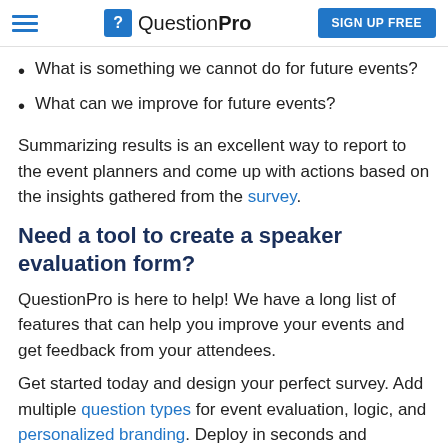QuestionPro — SIGN UP FREE
What is something we cannot do for future events?
What can we improve for future events?
Summarizing results is an excellent way to report to the event planners and come up with actions based on the insights gathered from the survey.
Need a tool to create a speaker evaluation form?
QuestionPro is here to help! We have a long list of features that can help you improve your events and get feedback from your attendees.
Get started today and design your perfect survey. Add multiple question types for event evaluation, logic, and personalized branding. Deploy in seconds and analyze your data in real time. You can access over 88 features and